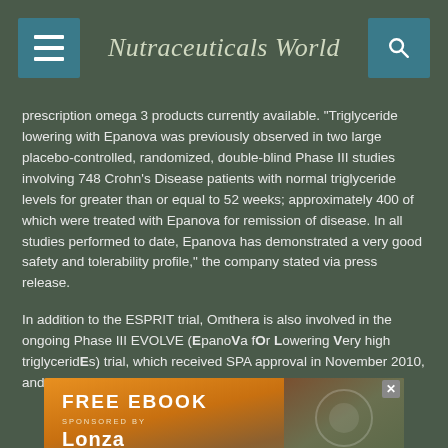Nutraceuticals World
prescription omega 3 products currently available. "Triglyceride lowering with Epanova was previously observed in two large placebo-controlled, randomized, double-blind Phase III studies involving 748 Crohn's Disease patients with normal triglyceride levels for greater than or equal to 52 weeks; approximately 400 of which were treated with Epanova for remission of disease. In all studies performed to date, Epanova has demonstrated a very good safety and tolerability profile," the company stated via press release.
In addition to the ESPRIT trial, Omthera is also involved in the ongoing Phase III EVOLVE (EpanoVa fOr Lowering Very high triglyceridEs) trial, which received SPA approval in November 2010, and will form the basis for filing a New
[Figure (infographic): Advertisement banner for a free eBook sponsored by Lonza, with orange and brown gradient background, partial view of product imagery on the right, and an X close button in the top right corner.]